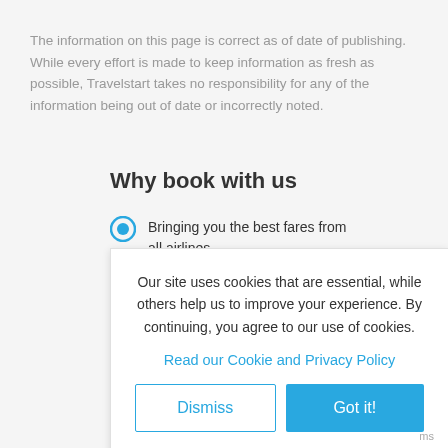The information on this page is correct as of date of publishing. While every effort is made to keep information as fresh as possible, Travelstart takes no responsibility for any of the information being out of date or incorrectly noted.
Why book with us
Bringing you the best fares from all airlines
Our site uses cookies that are essential, while others help us to improve your experience. By continuing, you agree to our use of cookies.
Read our Cookie and Privacy Policy
Dismiss   Got it!